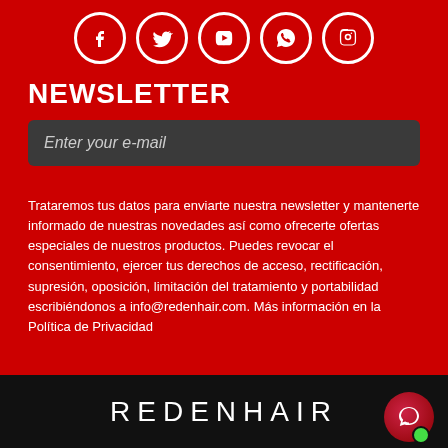[Figure (illustration): Social media icons: Facebook, Twitter, YouTube, WhatsApp, Instagram — white circular icons on red background]
NEWSLETTER
Enter your e-mail
Trataremos tus datos para enviarte nuestra newsletter y mantenerte informado de nuestras novedades así como ofrecerte ofertas especiales de nuestros productos. Puedes revocar el consentimiento, ejercer tus derechos de acceso, rectificación, supresión, oposición, limitación del tratamiento y portabilidad escribiéndonos a info@redenhair.com. Más información en la Política de Privacidad
[Figure (logo): REDENHAIR logo in white text on black background, with a red chat bubble icon and green online dot]